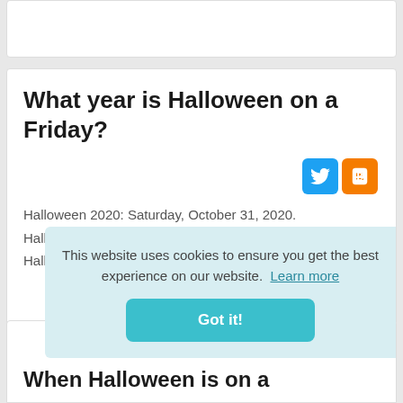What year is Halloween on a Friday?
Halloween 2020: Saturday, October 31, 2020.
Halloween 2021: Sunday, October 31, 2021.
Halloween 2022: Monday, October 31, 2022.
This website uses cookies to ensure you get the best experience on our website. Learn more
Got it!
When Halloween is on a